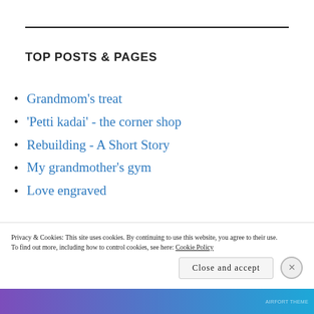TOP POSTS & PAGES
Grandmom's treat
'Petti kadai' - the corner shop
Rebuilding - A Short Story
My grandmother's gym
Love engraved
Privacy & Cookies: This site uses cookies. By continuing to use this website, you agree to their use.
To find out more, including how to control cookies, see here: Cookie Policy
Close and accept